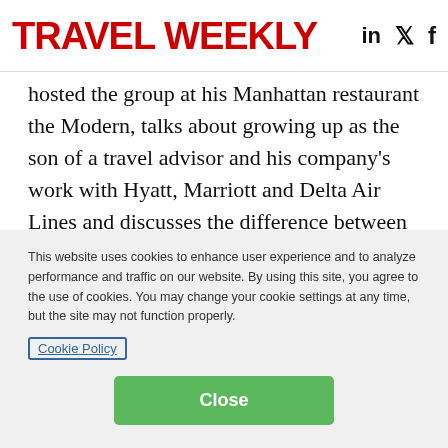TRAVEL WEEKLY
hosted the group at his Manhattan restaurant the Modern, talks about growing up as the son of a travel advisor and his company’s work with Hyatt, Marriott and Delta Air Lines and discusses the difference between service and hospitality.
And the editors share insights about their and their readers’ travel plans and experiences.
This website uses cookies to enhance user experience and to analyze performance and traffic on our website. By using this site, you agree to the use of cookies. You may change your cookie settings at any time, but the site may not function properly.
Cookie Policy
Close